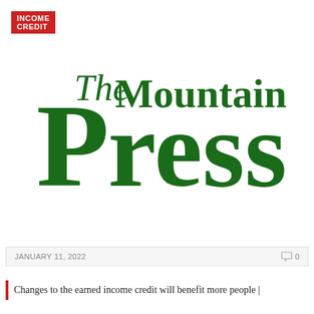INCOME CREDIT
[Figure (logo): The Mountain Press newspaper logo in dark green serif font with large decorative P]
JANUARY 11, 2022
0 comments
Changes to the earned income credit will benefit more people |